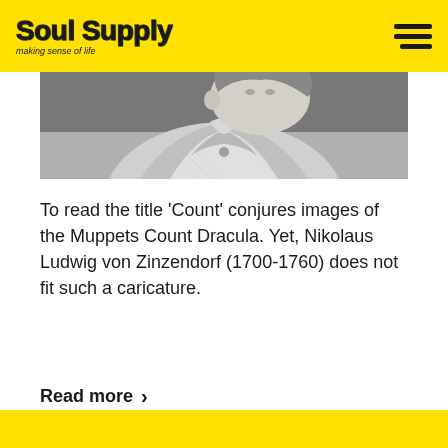Soul Supply — making sense of life
[Figure (photo): Grayscale engraving or illustration of a person in historical clothing, cropped showing upper body and face area]
To read the title 'Count' conjures images of the Muppets Count Dracula. Yet, Nikolaus Ludwig von Zinzendorf (1700-1760) does not fit such a caricature.
Read more →